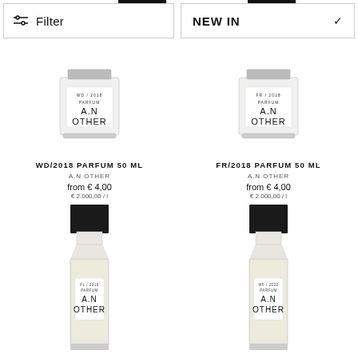Filter
NEW IN
[Figure (photo): A.N Other WD/2018 Parfum bottle - short squat glass bottle with black label reading WD/2018 PARFUM and A.N OTHER]
WD/2018 PARFUM 50 ML
A.N OTHER
from € 4,00
€ 2.000,00 / l
[Figure (photo): A.N Other FR/2018 Parfum bottle - short squat glass bottle with black label reading FR/2018 PARFUM and A.N OTHER]
FR/2018 PARFUM 50 ML
A.N OTHER
from € 4,00
€ 2.000,00 / l
[Figure (photo): A.N Other FL/2018 Parfum tall bottle - tall rectangular glass bottle with black square cap and white label reading FL/2018 PARFUM and A.N OTHER]
[Figure (photo): A.N Other WF/2022 Parfum tall bottle - tall rectangular glass bottle with black square cap and white label reading WF/2022 PARFUM and A.N OTHER]